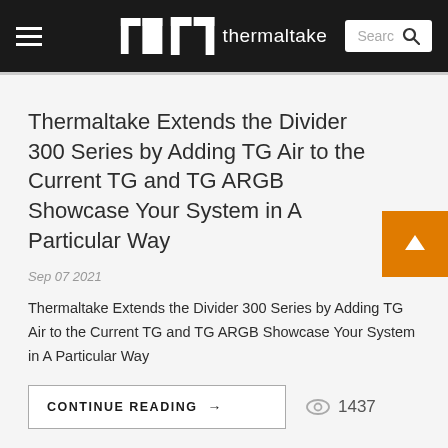thermaltake
Thermaltake Extends the Divider 300 Series by Adding TG Air to the Current TG and TG ARGB Showcase Your System in A Particular Way
Sep 07 2021
Thermaltake Extends the Divider 300 Series by Adding TG Air to the Current TG and TG ARGB Showcase Your System in A Particular Way
CONTINUE READING →  1437